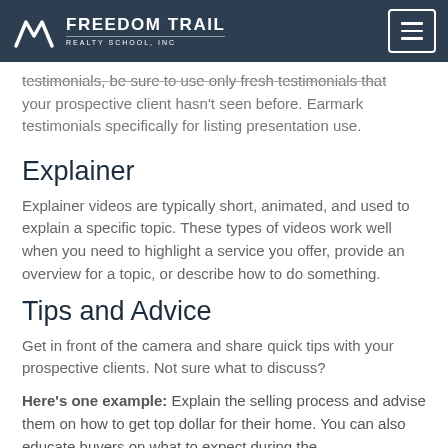FREEDOM TRAIL REALTY SCHOOL, INC
testimonials, be sure to use only fresh testimonials that your prospective client hasn't seen before. Earmark testimonials specifically for listing presentation use.
Explainer
Explainer videos are typically short, animated, and used to explain a specific topic. These types of videos work well when you need to highlight a service you offer, provide an overview for a topic, or describe how to do something.
Tips and Advice
Get in front of the camera and share quick tips with your prospective clients. Not sure what to discuss?
Here's one example: Explain the selling process and advise them on how to get top dollar for their home. You can also educate buyers on what to expect during the